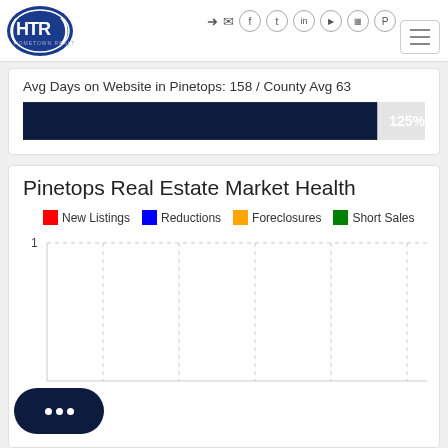HTR Hometown Realty header with navigation icons and hamburger menu
Avg Days on Website in Pinetops: 158 / County Avg 63
[Figure (bar-chart): Avg Days on Website]
Pinetops Real Estate Market Health
[Figure (bar-chart): Pinetops Real Estate Market Health]